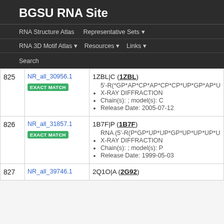BGSU RNA Site
RNA Structure Atlas | Representative Sets | RNA 3D Motif Atlas | Resources | Links | Search
| # | ID | Details |
| --- | --- | --- |
| 825 | NR_all_30956.1
EXACT MATCH | 1ZBL|C (1ZBL)
• 5'-R(*GP*AP*CP*AP*CP*CP*UP*GP*AP*UP
• X-RAY DIFFRACTION
• Chain(s): ; model(s): C
• Release Date: 2005-07-12 |
| 826 | NR_all_31857.1
EXACT MATCH | 1B7F|P (1B7F)
• RNA (5'-R(P*GP*UP*UP*GP*UP*UP*UP*UP*UP*U
• X-RAY DIFFRACTION
• Chain(s): ; model(s): P
• Release Date: 1999-05-03 |
| 827 | NR_all_39746.1 | 2Q1O|A (2G92) |